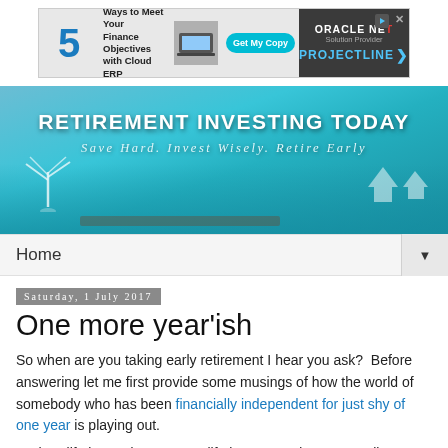[Figure (other): Advertisement banner: '5 Ways to Meet Your Finance Objectives with Cloud ERP' with Oracle NetSuite Solution Provider and Projectline logos, Get My Copy button]
[Figure (photo): Hero banner image for 'Retirement Investing Today' blog showing a couple sitting on a tropical pier over turquoise water. Text overlay reads 'RETIREMENT INVESTING TODAY' and 'Save Hard. Invest Wisely. Retire Early' with palm tree icons.]
Home ▼
Saturday, 1 July 2017
One more year'ish
So when are you taking early retirement I hear you ask?  Before answering let me first provide some musings of how the world of somebody who has been financially independent for just shy of one year is playing out.
In short life is good, no I mean life is great and I mean really great.  We were fortunate enough to be able to spend some